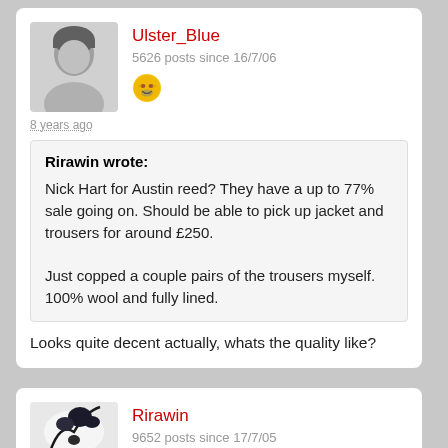Ulster_Blue
5626 posts since 16/7/06
8 years ago
Rirawin wrote:
Nick Hart for Austin reed? They have a up to 77% sale going on. Should be able to pick up jacket and trousers for around £250.

Just copped a couple pairs of the trousers myself. 100% wool and fully lined.
Looks quite decent actually, whats the quality like?
Rirawin
9652 posts since 17/7/05